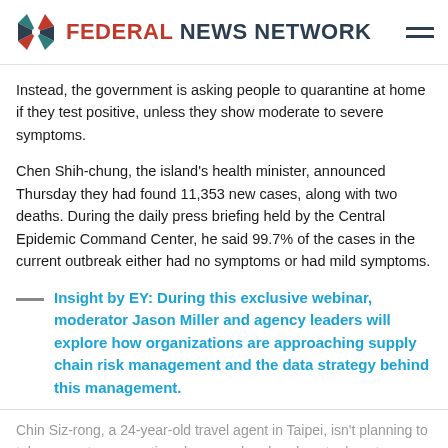Federal News Network
Instead, the government is asking people to quarantine at home if they test positive, unless they show moderate to severe symptoms.
Chen Shih-chung, the island's health minister, announced Thursday they had found 11,353 new cases, along with two deaths. During the daily press briefing held by the Central Epidemic Command Center, he said 99.7% of the cases in the current outbreak either had no symptoms or had mild symptoms.
Insight by EY: During this exclusive webinar, moderator Jason Miller and agency leaders will explore how organizations are approaching supply chain risk management and the data strategy behind this management.
Chin Siz-rong, a 24-year-old travel agent in Taipei, isn't planning to take any extra precautions because he already got a booster COVID-19 vaccine and issued to wearing a mask.